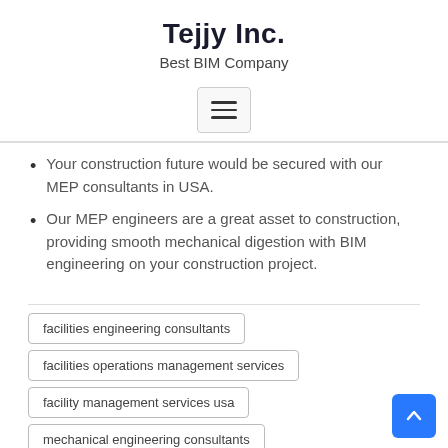Tejjy Inc.
Best BIM Company
[Figure (infographic): Hamburger menu button icon with three horizontal lines inside a rounded rectangle border]
Your construction future would be secured with our MEP consultants in USA.
Our MEP engineers are a great asset to construction, providing smooth mechanical digestion with BIM engineering on your construction project.
facilities engineering consultants
facilities operations management services
facility management services usa
mechanical engineering consultants